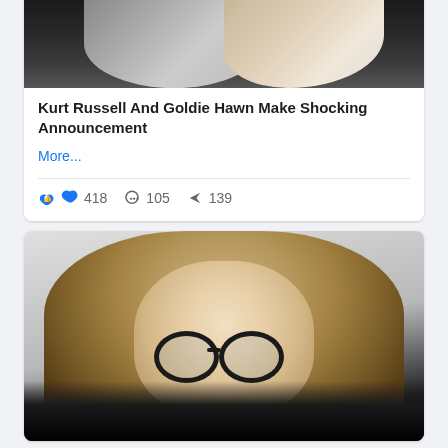[Figure (photo): Cropped photo at top showing two people (Kurt Russell and Goldie Hawn) in formal attire, partially visible from the top]
Kurt Russell And Goldie Hawn Make Shocking Announcement
More...
👍 418  💬 105  ➤ 139
[Figure (photo): Portrait photo of a young blonde woman wearing dark round glasses and a black blazer, with long flowing blonde hair, looking at the camera against a light grey background]